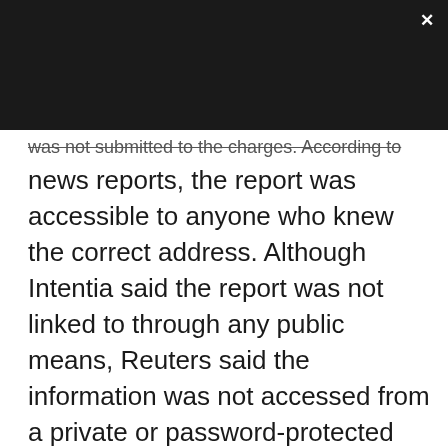[dark header bar with close button X]
was not submitted to the charges. According to news reports, the report was accessible to anyone who knew the correct address. Although Intentia said the report was not linked to through any public means, Reuters said the information was not accessed from a private or password-protected site, but from the public Internet.